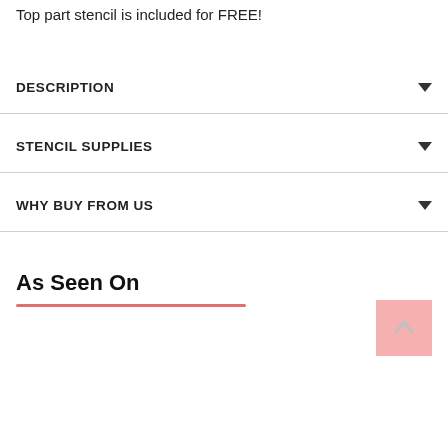Top part stencil is included for FREE!
DESCRIPTION
STENCIL SUPPLIES
WHY BUY FROM US
As Seen On